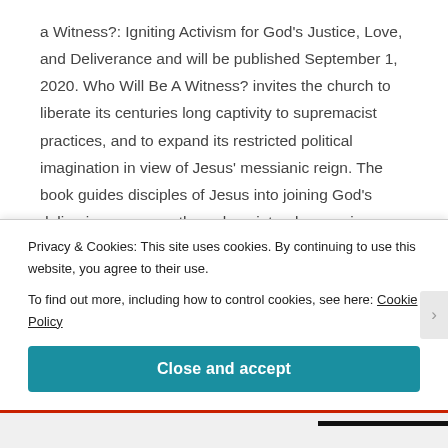a Witness?: Igniting Activism for God's Justice, Love, and Deliverance and will be published September 1, 2020. Who Will Be A Witness? invites the church to liberate its centuries long captivity to supremacist practices, and to expand its restricted political imagination in view of Jesus' messianic reign. The book guides disciples of Jesus into joining God's delivering presence through scriptural reasoning, historical reflection, practical theology for congregational life, social change theory, and the Christian call to love our neighbor. It is
Privacy & Cookies: This site uses cookies. By continuing to use this website, you agree to their use.
To find out more, including how to control cookies, see here: Cookie Policy
Close and accept